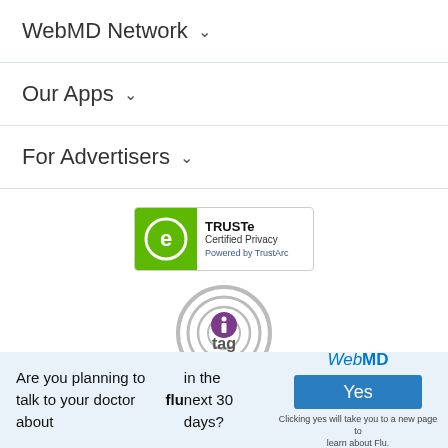WebMD Network ⌄
Our Apps ⌄
For Advertisers ⌄
[Figure (logo): TRUSTe Certified Privacy badge with green icon and TrustArc branding]
[Figure (logo): TAG Registered certification badge with circular signal icon and purple 'i' symbol]
[Figure (logo): HON (Health On the Net) badge, partially visible]
Are you planning to talk to your doctor about flu in the next 30 days?
[Figure (logo): WebMD logo with Yes button and note: Clicking yes will take you to a new page to learn about Flu.]